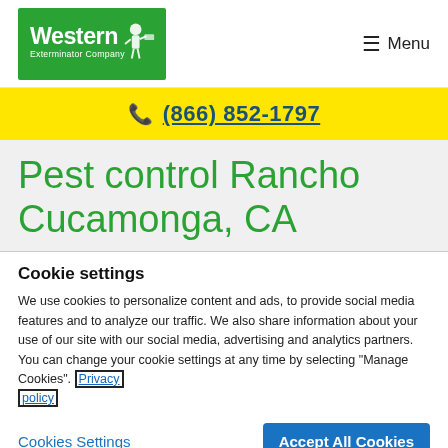[Figure (logo): Western Exterminator Company logo — white text on green background with cartoon pest control figure]
☰ Menu
(866) 852-1797
Pest control Rancho Cucamonga, CA
Cookie settings
We use cookies to personalize content and ads, to provide social media features and to analyze our traffic. We also share information about your use of our site with our social media, advertising and analytics partners. You can change your cookie settings at any time by selecting "Manage Cookies". Privacy policy
Cookies Settings
Accept All Cookies